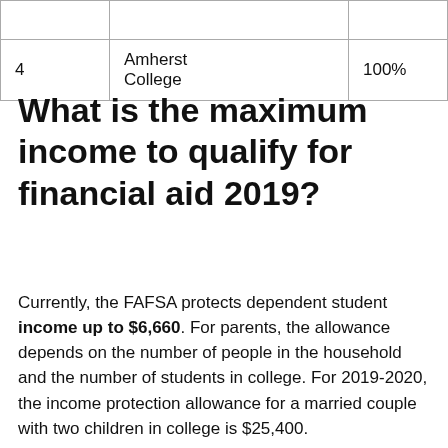|  |  |  |
| 4 | Amherst College | 100% |
What is the maximum income to qualify for financial aid 2019?
Currently, the FAFSA protects dependent student income up to $6,660. For parents, the allowance depends on the number of people in the household and the number of students in college. For 2019-2020, the income protection allowance for a married couple with two children in college is $25,400.